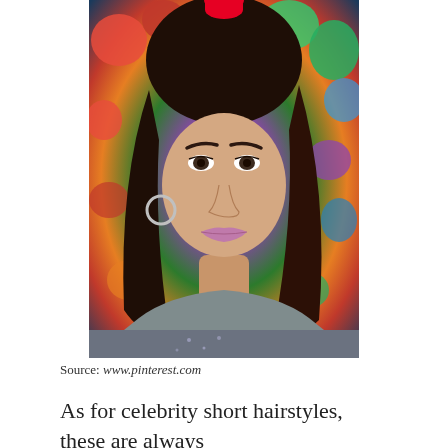[Figure (photo): A young woman with shoulder-length dark brown wavy hair, wearing a gray sleeveless top, photographed in front of a colorful floral background. She has a subtle smile and is wearing a hoop earring.]
Source: www.pinterest.com
As for celebrity short hairstyles, these are always